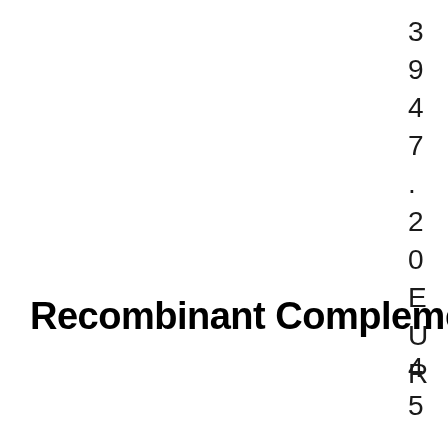3 9 4 7 . 2 0 E U R
Recombinant Complement Compo
4 5